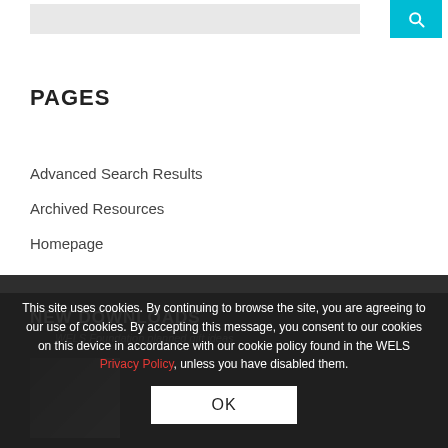[Figure (screenshot): Search bar with grey input field and cyan/teal search button with magnifier icon at top of page]
PAGES
Advanced Search Results
Archived Resources
Homepage
NEW DOWNLOADS
[Figure (photo): Partially visible photo thumbnail in dark footer area, appears to show a person reading]
WELS Foundation planned gift ideas
This site uses cookies. By continuing to browse the site, you are agreeing to our use of cookies. By accepting this message, you consent to our cookies on this device in accordance with our cookie policy found in the WELS Privacy Policy, unless you have disabled them.
OK